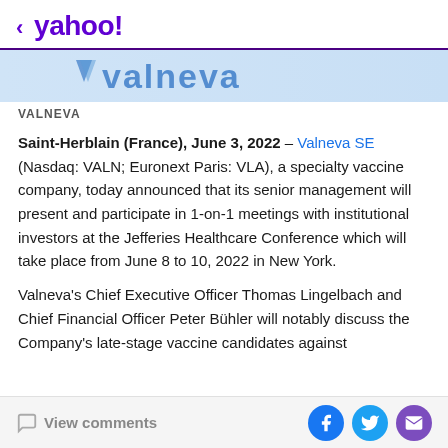< yahoo!
[Figure (logo): Valneva company logo in blue text on light blue background]
VALNEVA
Saint-Herblain (France), June 3, 2022 – Valneva SE (Nasdaq: VALN; Euronext Paris: VLA), a specialty vaccine company, today announced that its senior management will present and participate in 1-on-1 meetings with institutional investors at the Jefferies Healthcare Conference which will take place from June 8 to 10, 2022 in New York.
Valneva's Chief Executive Officer Thomas Lingelbach and Chief Financial Officer Peter Bühler will notably discuss the Company's late-stage vaccine candidates against
View comments